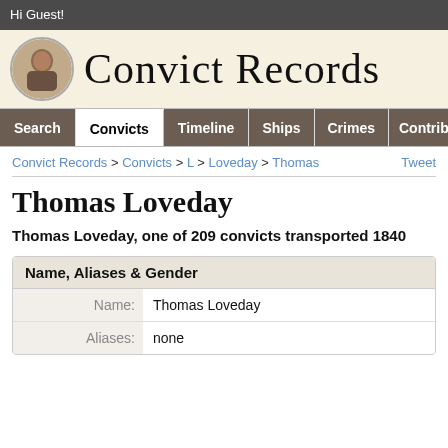Hi Guest!
[Figure (illustration): Oval portrait photo of a man, used as site logo for Convict Records]
Convict Records
Search | Convicts | Timeline | Ships | Crimes | Contribute
Convict Records > Convicts > L > Loveday > Thomas
Thomas Loveday
Thomas Loveday, one of 209 convicts transported 1840
Name, Aliases & Gender
| Field | Value |
| --- | --- |
| Name: | Thomas Loveday |
| Aliases: | none |